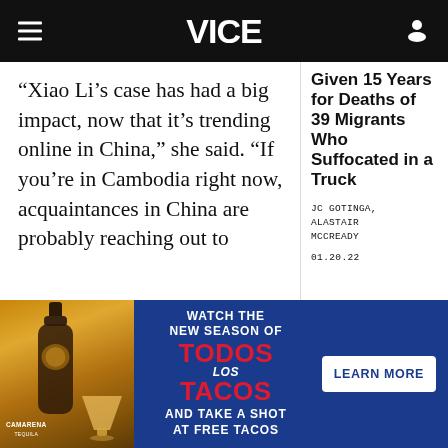VICE
“Xiao Li’s case has had a big impact, now that it’s trending online in China,” she said. “If you’re in Cambodia right now, acquaintances in China are probably reaching out to
Given 15 Years for Deaths of 39 Migrants Who Suffocated in a Truck
JC GOTINGA, ALASTAIR MCCREADY
01.20.22
[Figure (photo): Advertisement banner for Camarena Tequila and the show Todos Los Tacos, showing a bottle of tequila and a cocktail glass on the left, with blue background and text: WATCH THE NEW SEASON OF TODOS LOS TACOS AND TAKE A SHOT AT FREE TACOS, with a LEARN MORE button]